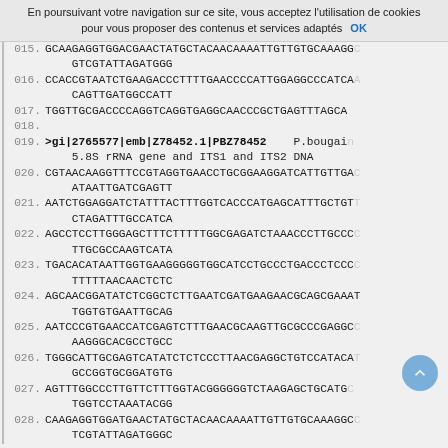En poursuivant votre navigation sur ce site, vous acceptez l'utilisation de cookies pour vous proposer des contenus et services adaptés  OK
015.  GCAAGAGGTGGACGAACTATGCTACAACAAAATTGTTGTGCAAAGG... GTCGTATTAGATGGG
016.  CCACCGTAATCTGAAGACCCTTTTGAACCCCATTGGAGGCCCATCA... CAGTTGATGGCCATT
017.  TGGTTGCGACCCCAGGTCAGGTGAGGCAACCCGCTGAGTTTAGCA
018.
019.  >gi|2765577|emb|Z78452.1|PBZ78452  P.bougain... 5.8S rRNA gene and ITS1 and ITS2 DNA
020.  CGTAACAAGGTTTCCGTAGGTGAACCTGCGGAAGGATCATTGTTGA... ATAATTGATCGAGTT
021.  AATCTGGAGGATCTATTTACTTTGGTCACCCATGAGCATTTGCTGT... CTAGATTTGCCATCA
022.  AGCCTCCTTGGGAGCTTTCTTTTTGGCGAGATCTAAACCCTTGCCC... TTGCGCCAAGTCATA
023.  TGACACATAATTGGTGAAGGGGGTGGCATCCTGCCCTGACCCTCCC... TTTTTAACAACTCTC
024.  AGCAACGGATATCTCGGCTCTTGAATCGATGAAGAACGCAGCGAAAT... TGGTGTGAATTGCAG
025.  AATCCCGTGAACCATCGAGTCTTTGAACGCAAGTTGCGCCCGAGGC... AAGGGCACGCCTGCC
026.  TGGGCATTGCGAGTCATATCTCTCCCTTAACGAGGCTGTCCATACA... GCCGGTGCGGATGTG
027.  AGTTTGGCCCTTGTTCTTTGGTACGGGGGGTCTAAGAGCTGCATG... TGGTCCTAAATACGG
028.  CAAGAGGTGGATGAACTATGCTACAACAAAATTGTTGTGCAAAGGC... TCGTATTAGATGGGC